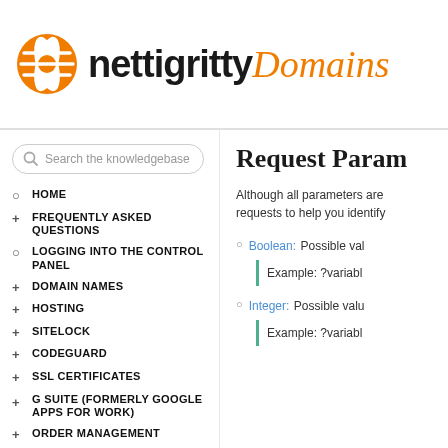nettigritty Domains
Search the knowledgebase
HOME
FREQUENTLY ASKED QUESTIONS
LOGGING INTO THE CONTROL PANEL
DOMAIN NAMES
HOSTING
SITELOCK
CODEGUARD
SSL CERTIFICATES
G SUITE (FORMERLY GOOGLE APPS FOR WORK)
ORDER MANAGEMENT
Request Param
Although all parameters are requests to help you identify
Boolean: Possible val
Example: ?variabl
Integer: Possible valu
Example: ?variabl